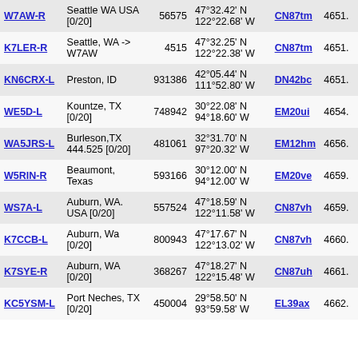| Callsign | Location | Node | Coordinates | Grid | Freq |
| --- | --- | --- | --- | --- | --- |
| W7AW-R | Seattle WA USA [0/20] | 56575 | 47°32.42' N 122°22.68' W | CN87tm | 4651. |
| K7LER-R | Seattle, WA -> W7AW | 4515 | 47°32.25' N 122°22.38' W | CN87tm | 4651. |
| KN6CRX-L | Preston, ID | 931386 | 42°05.44' N 111°52.80' W | DN42bc | 4651. |
| WE5D-L | Kountze, TX [0/20] | 748942 | 30°22.08' N 94°18.60' W | EM20ui | 4654. |
| WA5JRS-L | Burleson,TX 444.525 [0/20] | 481061 | 32°31.70' N 97°20.32' W | EM12hm | 4656. |
| W5RIN-R | Beaumont, Texas | 593166 | 30°12.00' N 94°12.00' W | EM20ve | 4659. |
| WS7A-L | Auburn, WA. USA [0/20] | 557524 | 47°18.59' N 122°11.58' W | CN87vh | 4659. |
| K7CCB-L | Auburn, Wa [0/20] | 800943 | 47°17.67' N 122°13.02' W | CN87vh | 4660. |
| K7SYE-R | Auburn, WA [0/20] | 368267 | 47°18.27' N 122°15.48' W | CN87uh | 4661. |
| KC5YSM-L | Port Neches, TX [0/20] | 450004 | 29°58.50' N 93°59.58' W | EL39ax | 4662. |